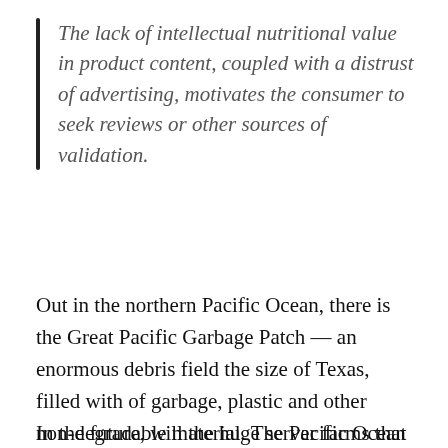The lack of intellectual nutritional value in product content, coupled with a distrust of advertising, motivates the consumer to seek reviews or other sources of validation.
Out in the northern Pacific Ocean, there is the Great Pacific Garbage Patch — an enormous debris field the size of Texas, filled with of garbage, plastic and other non-degradable material. The Pacific Ocean is vast and fills one with awe at its majesty and beauty. So this huge depository of rubbish is a nasty blemish.
In the future, will the huge server farms that